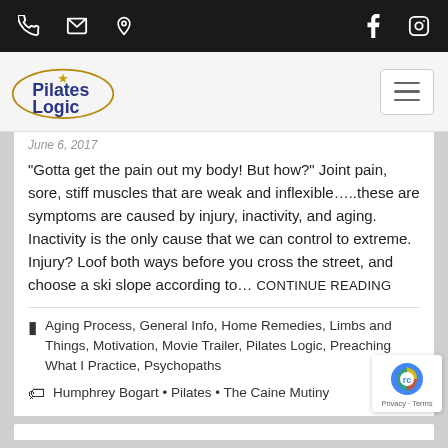Phone, Email, Location | Facebook, Instagram
[Figure (logo): Pilates Logic logo with oval border and starburst accent]
June 6, 2017
“Gotta get the pain out my body! But how?” Joint pain, sore, stiff muscles that are weak and inflexible….these are symptoms are caused by injury, inactivity, and aging. Inactivity is the only cause that we can control to extreme. Injury? Loof both ways before you cross the street, and choose a ski slope according to… CONTINUE READING
Aging Process, General Info, Home Remedies, Limbs and Things, Motivation, Movie Trailer, Pilates Logic, Preaching What I Practice, Psychopaths
Humphrey Bogart • Pilates • The Caine Mutiny